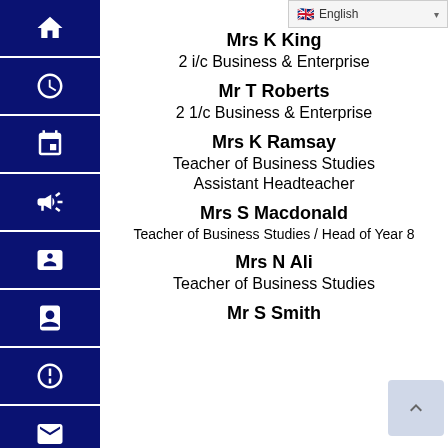English (language selector)
Mrs K King
2 i/c Business & Enterprise
Mr T Roberts
2 1/c Business & Enterprise
Mrs K Ramsay
Teacher of Business Studies
Assistant Headteacher
Mrs S Macdonald
Teacher of Business Studies / Head of Year 8
Mrs N Ali
Teacher of Business Studies
Mr S Smith